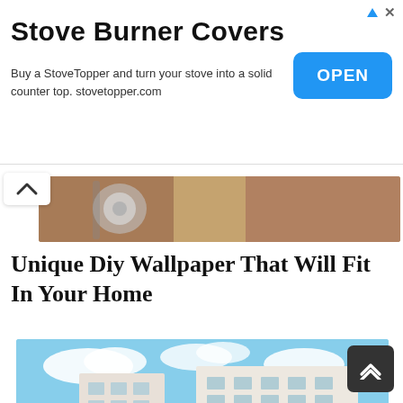[Figure (screenshot): Advertisement banner for Stove Burner Covers / StoveTopper with an OPEN button]
Stove Burner Covers
Buy a StoveTopper and turn your stove into a solid counter top. stovetopper.com
[Figure (photo): Partial photo of a bathroom fixture or wooden interior]
Unique Diy Wallpaper That Will Fit In Your Home
[Figure (photo): Photo of a modern white hotel building with a swimming pool and lounge chairs with umbrellas in the foreground]
38 Exciting Orchid Reef Hotel Eilat That Wil